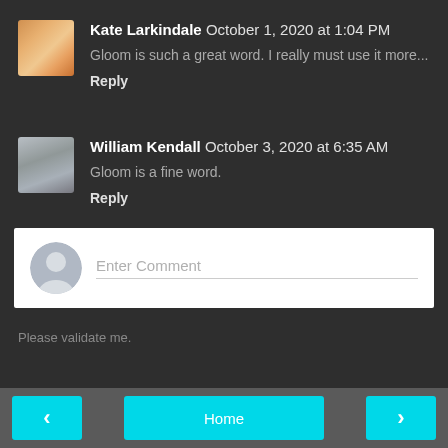Kate Larkindale  October 1, 2020 at 1:04 PM
Gloom is such a great word. I really must use it more...
Reply
William Kendall  October 3, 2020 at 6:35 AM
Gloom is a fine word.
Reply
Enter Comment
Please validate me.